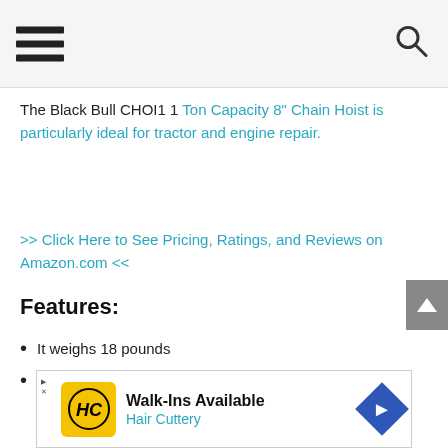(hamburger menu icon) (search icon)
The Black Bull CHOI1 1 Ton Capacity 8” Chain Hoist is particularly ideal for tractor and engine repair.
>> Click Here to See Pricing, Ratings, and Reviews on Amazon.com <<
Features:
It weighs 18 pounds
It has the standard lifting capability of 8ft
[Figure (other): Advertisement banner: Walk-Ins Available, Hair Cuttery with HC logo and navigation arrow icon]